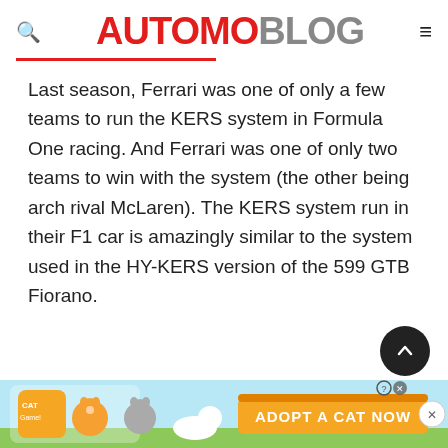AUTOMOBLOG
Last season, Ferrari was one of only a few teams to run the KERS system in Formula One racing. And Ferrari was one of only two teams to win with the system (the other being arch rival McLaren). The KERS system run in their F1 car is amazingly similar to the system used in the HY-KERS version of the 599 GTB Fiorano.
[Figure (illustration): Advertisement banner at the bottom showing a cat game ad with text 'ADOPT A CAT NOW']